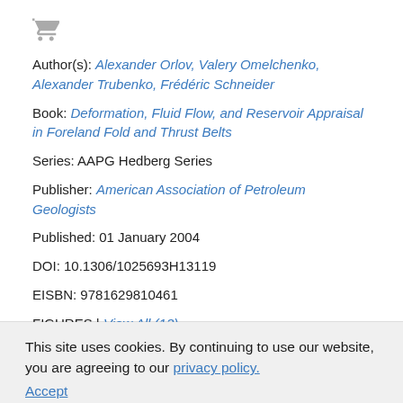[Figure (other): Shopping cart icon]
Author(s): Alexander Orlov, Valery Omelchenko, Alexander Trubenko, Frédéric Schneider
Book: Deformation, Fluid Flow, and Reservoir Appraisal in Foreland Fold and Thrust Belts
Series: AAPG Hedberg Series
Publisher: American Association of Petroleum Geologists
Published: 01 January 2004
DOI: 10.1306/1025693H13119
EISBN: 9781629810461
FIGURES | View All (13)
This site uses cookies. By continuing to use our website, you are agreeing to our privacy policy. Accept